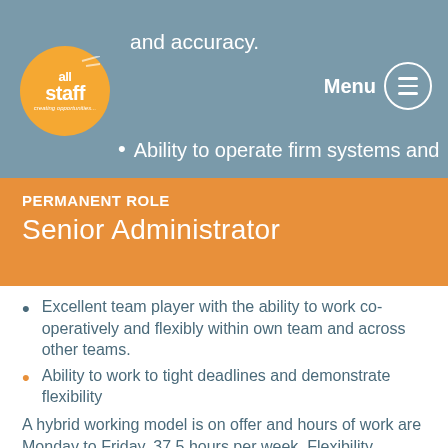and accuracy.
Ability to operate firm systems and
PERMANENT ROLE
Senior Administrator
Excellent team player with the ability to work co-operatively and flexibly within own team and across other teams.
Ability to work to tight deadlines and demonstrate flexibility
A hybrid working model is on offer and hours of work are Monday to Friday, 37.5 hours per week. Flexibility between 08.00 and 19.30 with a